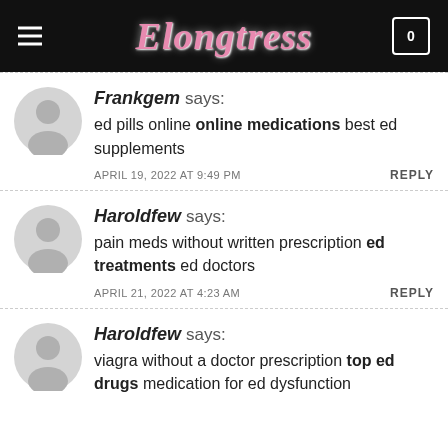Elongtress
Frankgem says: ed pills online online medications best ed supplements
APRIL 19, 2022 AT 9:49 PM   REPLY
Haroldfew says: pain meds without written prescription ed treatments ed doctors
APRIL 21, 2022 AT 4:23 AM   REPLY
Haroldfew says: viagra without a doctor prescription top ed drugs medication for ed dysfunction